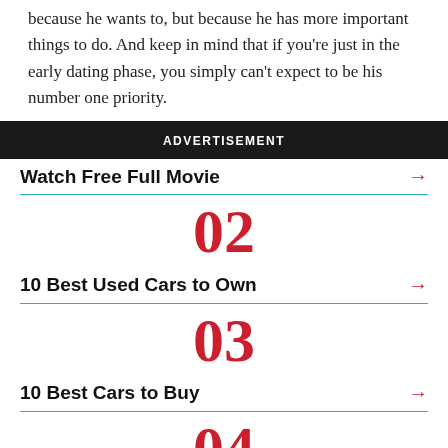because he wants to, but because he has more important things to do. And keep in mind that if you're just in the early dating phase, you simply can't expect to be his number one priority.
ADVERTISEMENT
Watch Free Full Movie →
02
10 Best Used Cars to Own →
03
10 Best Cars to Buy →
04